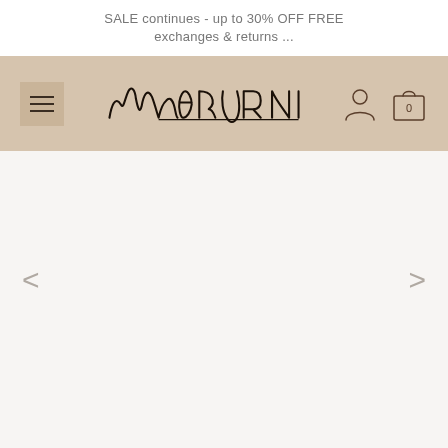SALE continues - up to 30% OFF FREE exchanges & returns ...
[Figure (screenshot): Navigation header with hamburger menu on left, M.G. Riven cursive signature logo in center, user account icon and shopping bag icon with 0 items on right, on a warm beige background]
[Figure (photo): Main content/slider area with light background, left and right navigation arrows on sides, content area is empty/white]